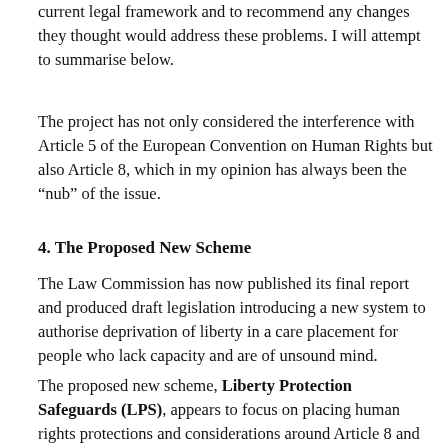current legal framework and to recommend any changes they thought would address these problems. I will attempt to summarise below.
The project has not only considered the interference with Article 5 of the European Convention on Human Rights but also Article 8, which in my opinion has always been the “nub” of the issue.
4. The Proposed New Scheme
The Law Commission has now published its final report and produced draft legislation introducing a new system to authorise deprivation of liberty in a care placement for people who lack capacity and are of unsound mind.
The proposed new scheme, Liberty Protection Safeguards (LPS), appears to focus on placing human rights protections and considerations around Article 8 and Article 5 right at the beginning of the care planning decision